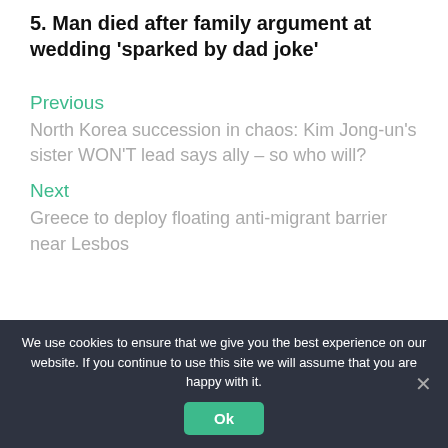5. Man died after family argument at wedding 'sparked by dad joke'
Previous
North Korea succession in chaos: Kim Jong-un's sister WON'T lead says ally – so who will?
Next
Greece to deploy floating anti-migrant barrier near Lesbos
We use cookies to ensure that we give you the best experience on our website. If you continue to use this site we will assume that you are happy with it.